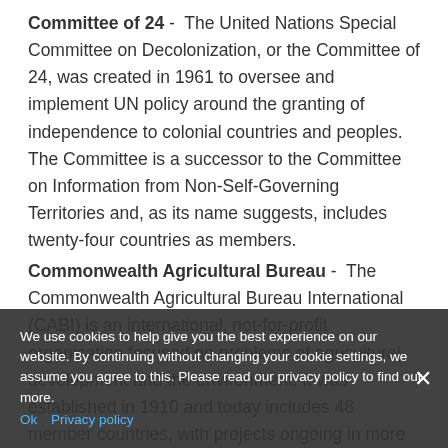Committee of 24 - The United Nations Special Committee on Decolonization, or the Committee of 24, was created in 1961 to oversee and implement UN policy around the granting of independence to colonial countries and peoples. The Committee is a successor to the Committee on Information from Non-Self-Governing Territories and, as its name suggests, includes twenty-four countries as members.
Commonwealth Agricultural Bureau - The Commonwealth Agricultural Bureau International (CABI) is an international, not-for-profit organisation focused on problems of agricultural development and the environment. It was established in 1910 and today includes 48 member countries, with projects ongoing in more than 70. CABI specialises in commodities, parasites, crops and scientific communication.
- Synonyms: CABI
We use cookies to help give you the best experience on our website. By continuing without changing your cookie settings, we assume you agree to this. Please read our privacy policy to find out more. Ok Privacy policy